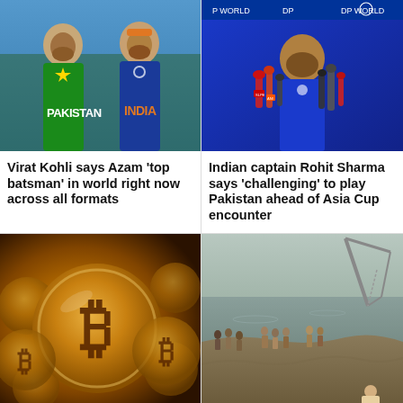[Figure (photo): Pakistan and India cricket players in jerseys posing together]
Virat Kohli says Azam 'top batsman' in world right now across all formats
[Figure (photo): Indian captain Rohit Sharma speaking at press conference with microphones, DP World banner behind]
Indian captain Rohit Sharma says 'challenging' to play Pakistan ahead of Asia Cup encounter
[Figure (photo): Golden Bitcoin cryptocurrency coins piled up]
[Figure (photo): People gathered at flooded area with crane visible in background]